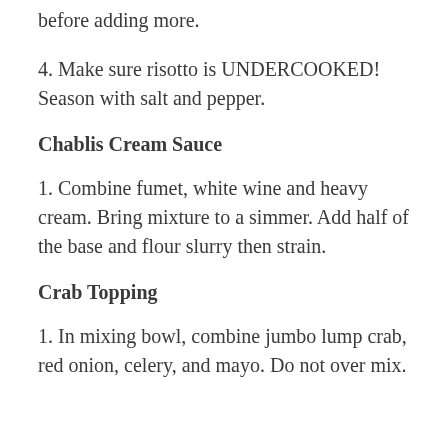before adding more.
4. Make sure risotto is UNDERCOOKED! Season with salt and pepper.
Chablis Cream Sauce
1. Combine fumet, white wine and heavy cream. Bring mixture to a simmer. Add half of the base and flour slurry then strain.
Crab Topping
1. In mixing bowl, combine jumbo lump crab, red onion, celery, and mayo. Do not over mix.